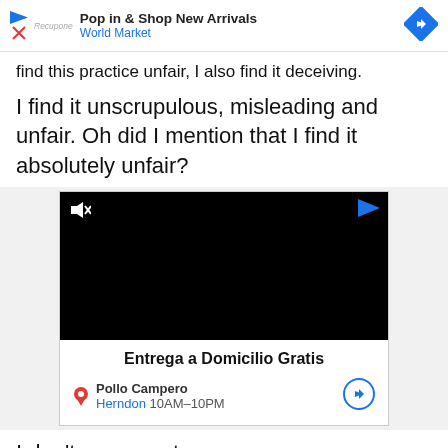[Figure (screenshot): Ad banner: Pop in & Shop New Arrivals - World Market with play icon, logo, and diamond arrow]
find this practice unfair, I also find it deceiving.
I find it unscrupulous, misleading and unfair. Oh did I mention that I find it absolutely unfair?
[Figure (screenshot): Video ad for Pollo Campero - Entrega a Domicilio Gratis, black video player with mute icon, location Herndon 10AM-10PM]
I don't ... m not
[Figure (screenshot): Ad banner: Pop in & Shop New Arrivals - World Market (bottom overlay)]